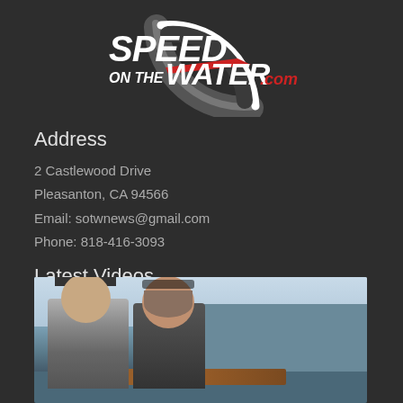[Figure (logo): Speed On The Water .com logo with arc/speedometer graphic, white and red text on dark background]
Address
2 Castlewood Drive
Pleasanton, CA 94566
Email: sotwnews@gmail.com
Phone: 818-416-3093
Latest Videos
[Figure (photo): Two men on a boat at a marina, one wearing a cap, both with sunglasses, wooden boat visible]